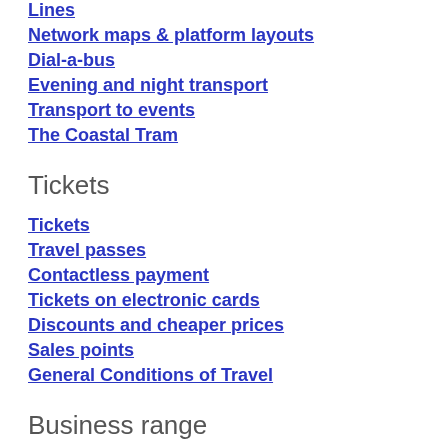Lines
Network maps & platform layouts
Dial-a-bus
Evening and night transport
Transport to events
The Coastal Tram
Tickets
Tickets
Travel passes
Contactless payment
Tickets on electronic cards
Discounts and cheaper prices
Sales points
General Conditions of Travel
Business range
Transport for your employees
Advertising on a bus or tram